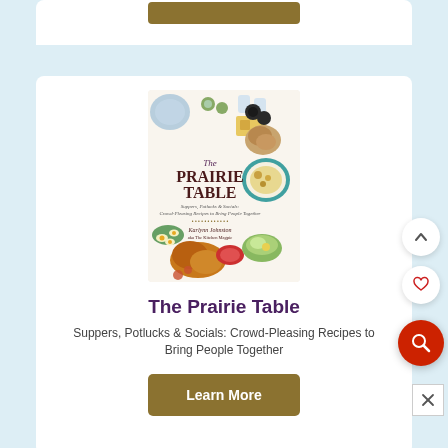[Figure (illustration): Book cover of 'The Prairie Table: Suppers, Potlucks & Socials: Crowd-Pleasing Recipes to Bring People Together' by Karlynn Johnston, showing various food dishes from above]
The Prairie Table
Suppers, Potlucks & Socials: Crowd-Pleasing Recipes to Bring People Together
Learn More